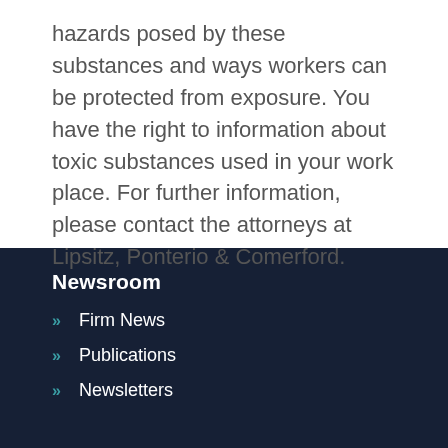hazards posed by these substances and ways workers can be protected from exposure. You have the right to information about toxic substances used in your work place. For further information, please contact the attorneys at Lipsitz, Ponterio & Comerford.
Newsroom
Firm News
Publications
Newsletters